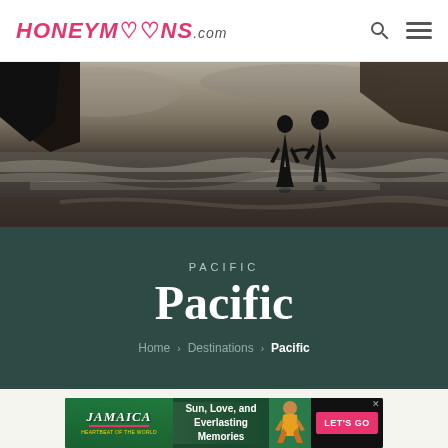HONEYMOONS.COM
[Figure (photo): Black and white photo of a couple holding hands on a beach at sunset with rocky formations in the background]
Pacific
PACIFIC
Home › Destinations › Pacific
[Figure (other): Jamaica advertisement banner: Sun, Love, and Everlasting Memories. LET'S GO button. Jamaica Heartbeat of the World logo.]